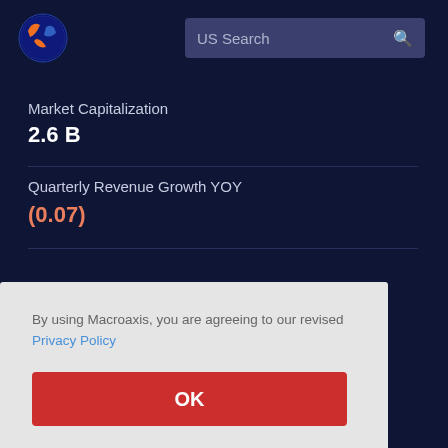[Figure (logo): Macroaxis globe logo with orange and blue colors]
US Search
Market Capitalization
2.6 B
Quarterly Revenue Growth YOY
(0.07)
By using Macroaxis, you are agreeing to our revised Privacy Policy
OK
The market value of National Vision Holdings is measured